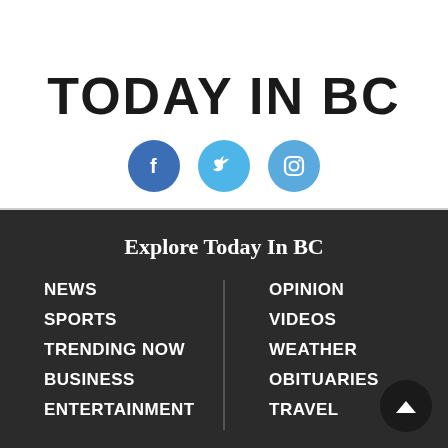TODAY IN BC
[Figure (logo): Social media icons: Facebook (blue circle with f), Twitter (light blue circle with bird), Instagram (blue circle with camera)]
Explore Today In BC
NEWS
SPORTS
TRENDING NOW
BUSINESS
ENTERTAINMENT
OPINION
VIDEOS
WEATHER
OBITUARIES
TRAVEL